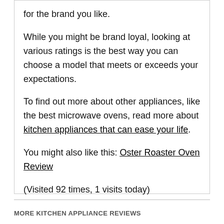for the brand you like.
While you might be brand loyal, looking at various ratings is the best way you can choose a model that meets or exceeds your expectations.
To find out more about other appliances, like the best microwave ovens, read more about kitchen appliances that can ease your life.
You might also like this: Oster Roaster Oven Review
(Visited 92 times, 1 visits today)